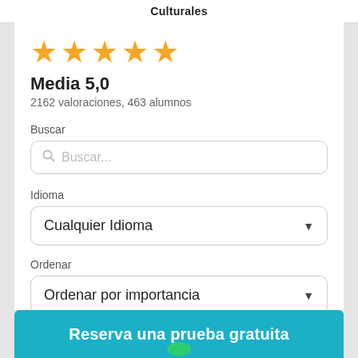Culturales
[Figure (other): Five gold star rating icons displayed in a row]
Media 5,0
2162 valoraciones, 463 alumnos
Buscar
Buscar...
Idioma
Cualquier Idioma
Ordenar
Ordenar por importancia
Reserva una prueba gratuita